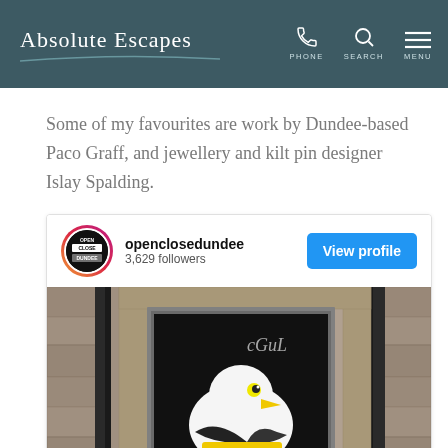Absolute Escapes | PHONE SEARCH MENU
Some of my favourites are work by Dundee-based Paco Graff, and jewellery and kilt pin designer Islay Spalding.
[Figure (screenshot): Instagram embed card for openclosedundee with 3,629 followers and a 'View profile' button, showing a photo of street art of a seagull painted inside a doorway in a stone wall.]